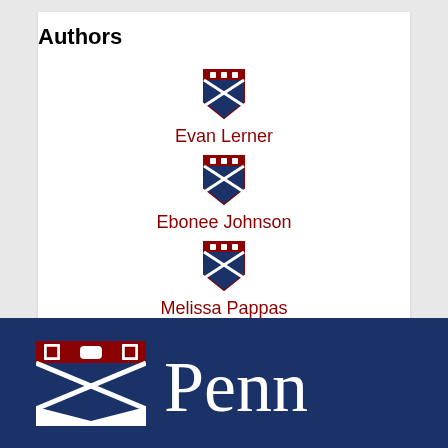Authors
[Figure (logo): University of Pennsylvania shield logo (small) above Evan Lerner]
Evan Lerner
[Figure (logo): University of Pennsylvania shield logo (small) above Ebonee Johnson]
Ebonee Johnson
[Figure (logo): University of Pennsylvania shield logo (small) above Melissa Pappas]
Melissa Pappas
[Figure (logo): University of Pennsylvania shield logo (small) above Olivia J. McMahon]
Olivia J. McMahon
[Figure (logo): University of Pennsylvania logo (shield + Penn wordmark) in footer bar]